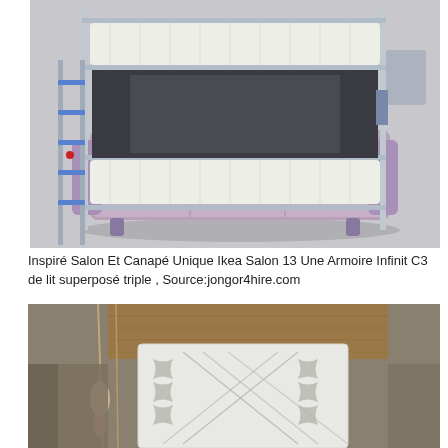[Figure (photo): A purple/lavender sofa that converts into a triple bunk bed with metal frame and ladder on the left side, two mattresses visible, photographed against a white/grey background.]
Inspiré Salon Et Canapé Unique Ikea Salon 13 Une Armoire Infinit C3 de lit superposé triple , Source:jongor4hire.com
[Figure (photo): Interior room scene showing a white ornate bed frame or headboard with decorative cutout patterns, wooden beam or panel behind it, and hanging decorative objects in the foreground, with warm brown tones.]